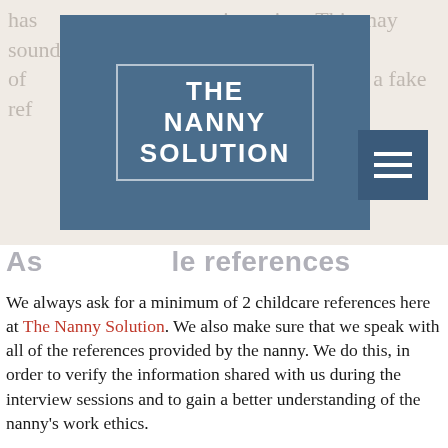has the interview. This may sound like a lot of work, but it is better do the extra work than let a fake reference go unnoticed.
[Figure (logo): The Nanny Solution logo — white text on steel blue background with border]
[Figure (other): Hamburger menu button — three white horizontal lines on dark blue square]
As... le references
We always ask for a minimum of 2 childcare references here at The Nanny Solution. We also make sure that we speak with all of the references provided by the nanny. We do this, in order to verify the information shared with us during the interview sessions and to gain a better understanding of the nanny's work ethics.
People often ask us our secret to finding these extraordinary nannies, but the secret is that there is no secret! We believe in an extensive and rigorous screening and screening process and we don't move forward with an